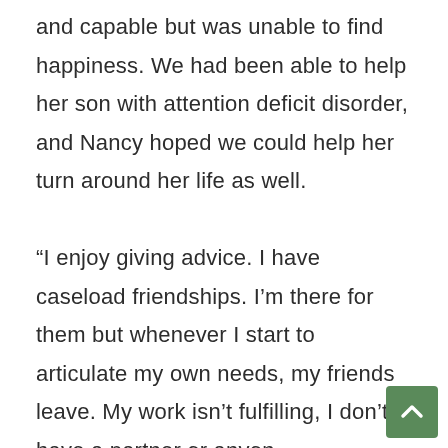and capable but was unable to find happiness. We had been able to help her son with attention deficit disorder, and Nancy hoped we could help her turn around her life as well.

“I enjoy giving advice. I have caseload friendships. I’m there for them but whenever I start to articulate my own needs, my friends leave. My work isn’t fulfilling, I don’t have a partner or anyon